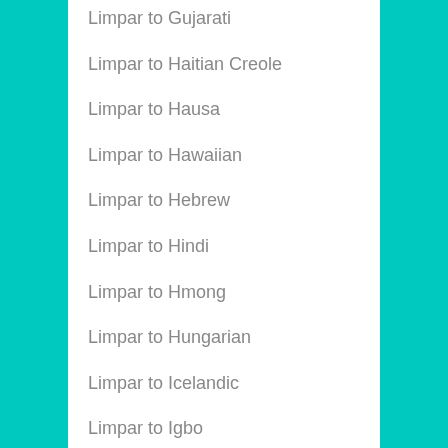Limpar to Gujarati
Limpar to Haitian Creole
Limpar to Hausa
Limpar to Hawaiian
Limpar to Hebrew
Limpar to Hindi
Limpar to Hmong
Limpar to Hungarian
Limpar to Icelandic
Limpar to Igbo
Limpar to Indonesian
Limpar to Irish
Limpar to Italian
Limpar to Japanese